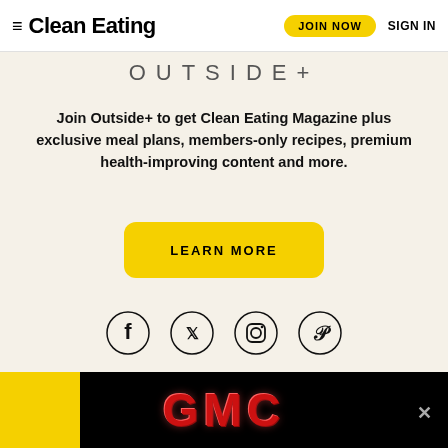Clean Eating | JOIN NOW | SIGN IN
OUTSIDE+
Join Outside+ to get Clean Eating Magazine plus exclusive meal plans, members-only recipes, premium health-improving content and more.
LEARN MORE
[Figure (illustration): Social media icons in circles: Facebook, Twitter, Instagram, Pinterest]
[Figure (logo): GMC advertisement banner with red metallic GMC logo on black background and yellow strip on left]